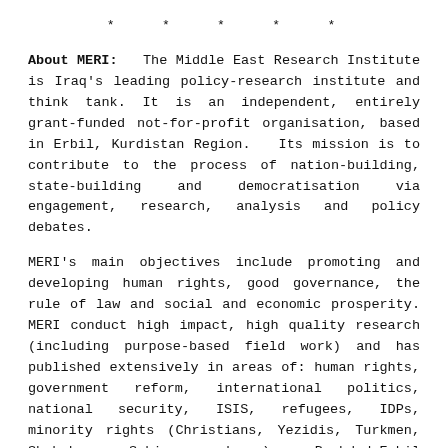* * * * *
About MERI: The Middle East Research Institute is Iraq's leading policy-research institute and think tank. It is an independent, entirely grant-funded not-for-profit organisation, based in Erbil, Kurdistan Region. Its mission is to contribute to the process of nation-building, state-building and democratisation via engagement, research, analysis and policy debates.
MERI's main objectives include promoting and developing human rights, good governance, the rule of law and social and economic prosperity. MERI conduct high impact, high quality research (including purpose-based field work) and has published extensively in areas of: human rights, government reform, international politics, national security, ISIS, refugees, IDPs, minority rights (Christians, Yezidis, Turkmen, Shabaks, Sabi mandeans), Baghdad-Erbil relations, Hashd Al-Shabi, Peshmarga, violence against women, civil society. MERI